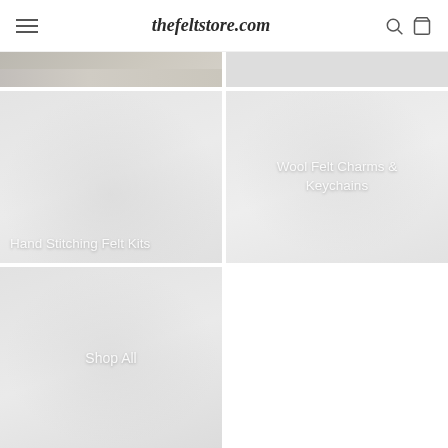thefeltstore.com
[Figure (photo): Partially visible product image — grey felt strip on left; light grey panel on right]
[Figure (photo): Hand Stitching Felt Kits category tile — light grey background with white text]
[Figure (photo): Wool Felt Charms & Keychains category tile — light grey background with white text]
[Figure (photo): Shop All category tile — light grey background with white text]